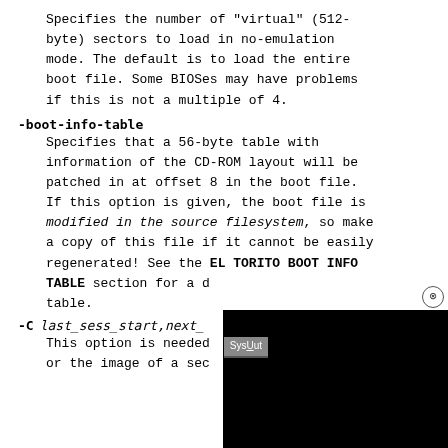Specifies the number of "virtual" (512-byte) sectors to load in no-emulation mode. The default is to load the entire boot file. Some BIOSes may have problems if this is not a multiple of 4.
-boot-info-table
Specifies that a 56-byte table with information of the CD-ROM layout will be patched in at offset 8 in the boot file. If this option is given, the boot file is modified in the source filesystem, so make a copy of this file if it cannot be easily regenerated! See the EL TORITO BOOT INFO TABLE section for a description of the table.
-C last_sess_start,next_...
This option is needed ... or the image of a sec...